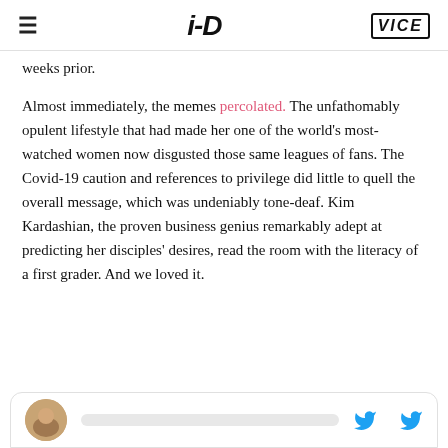≡  i-D  VICE
weeks prior.
Almost immediately, the memes percolated. The unfathomably opulent lifestyle that had made her one of the world's most-watched women now disgusted those same leagues of fans. The Covid-19 caution and references to privilege did little to quell the overall message, which was undeniably tone-deaf. Kim Kardashian, the proven business genius remarkably adept at predicting her disciples' desires, read the room with the literacy of a first grader. And we loved it.
[Figure (screenshot): Bottom of page tweet card with avatar photo and Twitter bird icons]